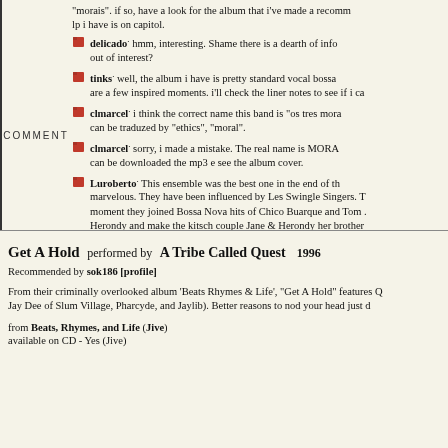"morais". if so, have a look for the album that i've made a recommendation lp i have is on capitol.
delicado: hmm, interesting. Shame there is a dearth of info out of interest?
tinks: well, the album i have is pretty standard vocal bossa are a few inspired moments. i'll check the liner notes to see if i ca
clmarcel: i think the correct name this band is "os tres mora can be traduzed by "ethics", "moral".
clmarcel: sorry, i made a mistake. The real name is MORA can be downloaded the mp3 e see the album cover.
Luroberto: This ensemble was the best one in the end of the marvelous. They have been influenced by Les Swingle Singers. T moment they joined Bossa Nova hits of Chico Buarque and Tom . Herondy and make the kitsch couple Jane & Herondy her brother ensemble for separate careers. One of them is now new as "Sant (The Dream), 1968, of Egberto Gismonti.
COMMENT
Get A Hold performed by A Tribe Called Quest 1996
Recommended by sok186 [profile]
From their criminally overlooked album 'Beats Rhymes & Life', "Get A Hold" features Q Jay Dee of Slum Village, Pharcyde, and Jaylib). Better reasons to nod your head just d
from Beats, Rhymes, and Life (Jive)
available on CD - Yes (Jive)